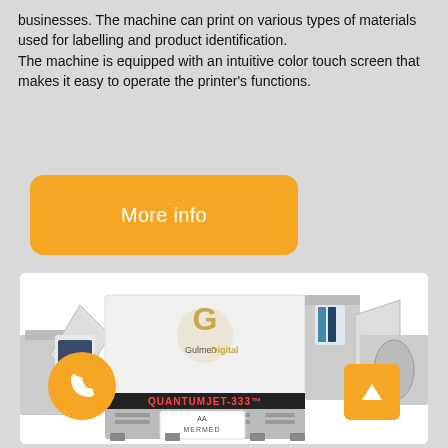businesses. The machine can print on various types of materials used for labelling and product identification.
The machine is equipped with an intuitive color touch screen that makes it easy to operate the printer's functions.
More info
[Figure (photo): Industrial label printing machine 'QuantumJet-333' by Gulmen Digital, shown with 'MERMED' branding visible on the front panel. The machine is a white and silver stainless-steel industrial label printer with rollers on both sides and a touch screen on the left side.]